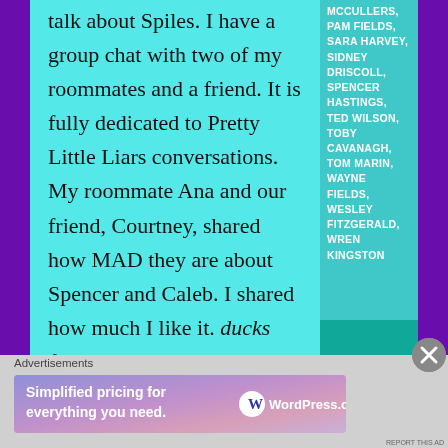talk about Spiles. I have a group chat with two of my roommates and a friend. It is fully dedicated to Pretty Little Liars conversations. My roommate Ana and our friend, Courtney, shared how MAD they are about Spencer and Caleb. I shared how much I like it. ducks from the things being thrown at me by you furious Haleb and Spoby shippers.
MCCULLERS, PAM FIELDS, SARA HARVEY, SIDNEY DRISCOLL, SPENCER HASTINGS, TED WILSON, TOBY CAVANAGH, TOM MARIN, WAYNE FIELDS, WESLEY FITZGERALD, WREN KINGSTON
Advertisements
[Figure (screenshot): WordPress.com advertisement banner: 'Simplified pricing for everything you need.' with WordPress.com logo]